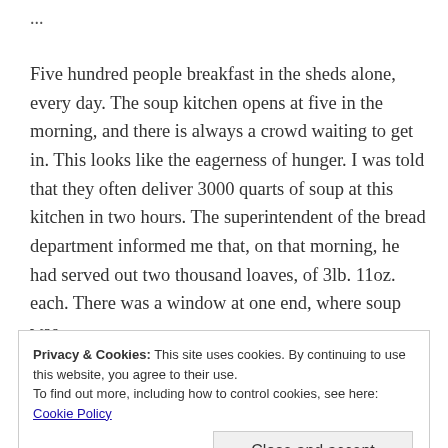...
Five hundred people breakfast in the sheds alone, every day. The soup kitchen opens at five in the morning, and there is always a crowd waiting to get in. This looks like the eagerness of hunger. I was told that they often deliver 3000 quarts of soup at this kitchen in two hours. The superintendent of the bread department informed me that, on that morning, he had served out two thousand loaves, of 3lb. 11oz. each. There was a window at one end, where soup was
Privacy & Cookies: This site uses cookies. By continuing to use this website, you agree to their use.
To find out more, including how to control cookies, see here: Cookie Policy
Close and accept
their eagerness, and compelled them to order. I